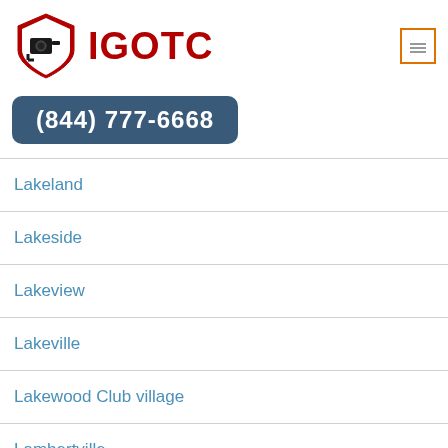[Figure (logo): IGOTC security camera logo with shield icon and red text 'IGOTC']
(844) 777-6668
Lakeland
Lakeside
Lakeview
Lakeville
Lakewood Club village
Lambertville